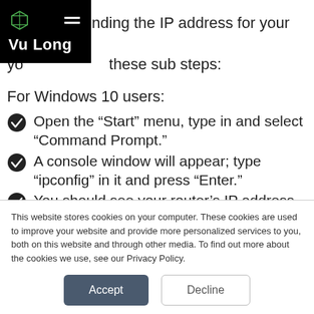[Figure (logo): Vu Long brand logo on black background with cube icon and hamburger menu]
If t[...] p finding the IP address for your router, yo[...] these sub steps:
For Windows 10 users:
Open the “Start” menu, type in and select “Command Prompt.”
A console window will appear; type “ipconfig” in it and press “Enter.”
You should see your router’s IP address on the
This website stores cookies on your computer. These cookies are used to improve your website and provide more personalized services to you, both on this website and through other media. To find out more about the cookies we use, see our Privacy Policy.